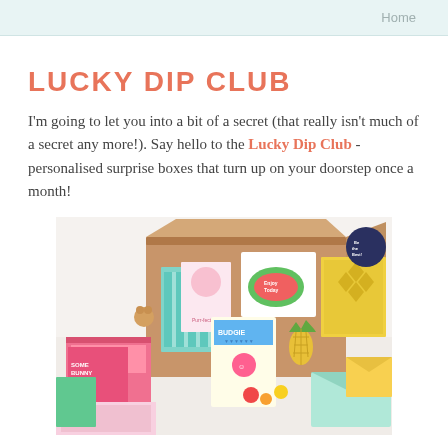Home
LUCKY DIP CLUB
I'm going to let you into a bit of a secret (that really isn't much of a secret any more!). Say hello to the Lucky Dip Club - personalised surprise boxes that turn up on your doorstep once a month!
[Figure (photo): Photo of multiple open cardboard surprise boxes filled with colourful cards, stickers, pins, and gifts including items with text 'SOME BUNNY Loves You', 'BUDGIE', 'Enjoy Today', and a pineapple decoration.]